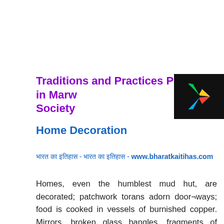Traditions and Practices Prevail in Marw Society
[Figure (logo): Google Play store badge/icon with colorful triangle play button on dark background]
Home Decoration
भारत का इतिहास - भारत का इतिहास - www.bharatkaitihas.com
Homes, even the humblest mud hut, are decorated; patchwork torans adorn door¬ways; food is cooked in vessels of burnished copper. Mirrors, broken glass bangles, fragments of fabric and pottery are all used to beautify the home and even mud